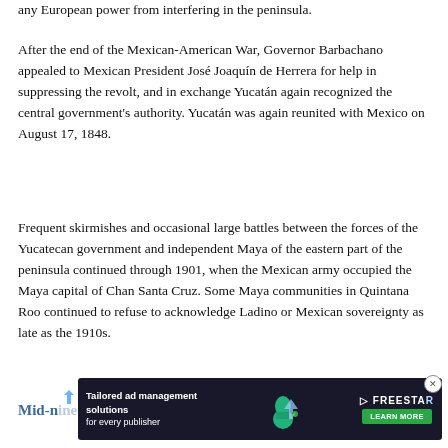any European power from interfering in the peninsula.
After the end of the Mexican-American War, Governor Barbachano appealed to Mexican President José Joaquín de Herrera for help in suppressing the revolt, and in exchange Yucatán again recognized the central government's authority. Yucatán was again reunited with Mexico on August 17, 1848.
Frequent skirmishes and occasional large battles between the forces of the Yucatecan government and independent Maya of the eastern part of the peninsula continued through 1901, when the Mexican army occupied the Maya capital of Chan Santa Cruz. Some Maya communities in Quintana Roo continued to refuse to acknowledge Ladino or Mexican sovereignty as late as the 1910s.
Mid-nineteenth ... century